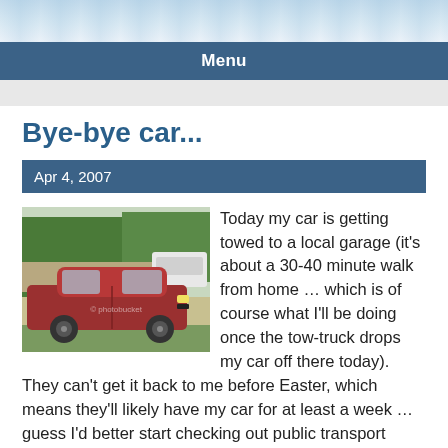Menu
Bye-bye car...
Apr 4, 2007
[Figure (photo): Photo of a dark red/maroon sedan car parked in a suburban driveway with trees and a white car visible in the background. Photobucket watermark visible.]
Today my car is getting towed to a local garage (it's about a 30-40 minute walk from home … which is of course what I'll be doing once the tow-truck drops my car off there today).  They can't get it back to me before Easter, which means they'll likely have my car for at least a week … guess I'd better start checking out public transport options for the next two nights and Easter Monday … oh heck, I also just realised I finish